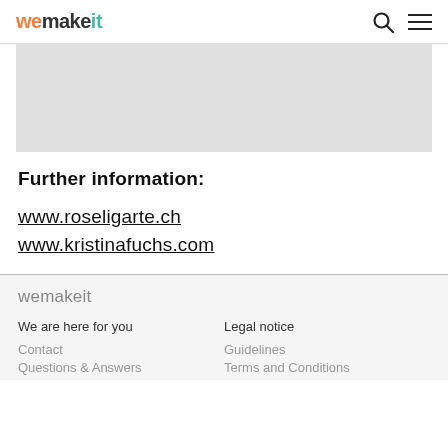wemakeit
[Figure (illustration): Gray placeholder image area]
Further information:
www.roseligarte.ch
www.kristinafuchs.com
wemakeit
We are here for you | Legal notice
Contact | Guidelines
Questions & Answers | Terms and Conditions